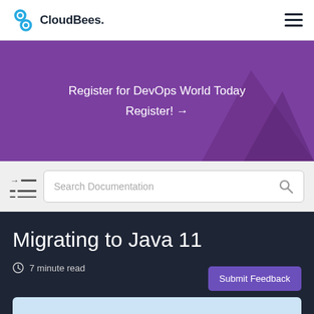CloudBees.
[Figure (infographic): Purple promotional banner: Register for DevOps World Today Register! →]
Register for DevOps World Today Register! →
[Figure (infographic): Table of contents icon with arrow lines, and a Search Documentation search box with magnifying glass icon]
Migrating to Java 11
7 minute read
Submit Feedback